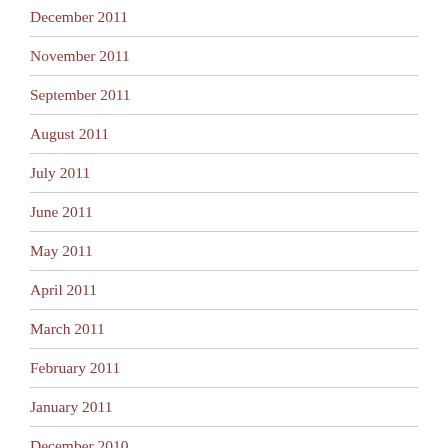December 2011
November 2011
September 2011
August 2011
July 2011
June 2011
May 2011
April 2011
March 2011
February 2011
January 2011
December 2010
October 2010